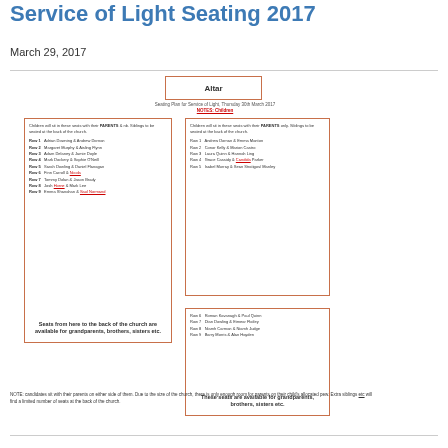Service of Light Seating 2017
March 29, 2017
[Figure (infographic): Seating plan diagram for Service of Light, Thursday 30th March 2017 NOTES: Children. Shows altar box at top, left column with rows 1-9 (children with parents), right top box with rows 1-5 (children with parents only), right bottom box with rows 6-9. Bottom of left column notes seats available for grandparents, brothers, sisters etc. Right bottom notes these seats available for grandparents, brothers, sisters etc.]
NOTE: candidates sit with their parents on either side of them. Due to the size of the church, there is only enough room for parents on their child's allocated pew. Extra siblings etc will find a limited number of seats at the back of the church.